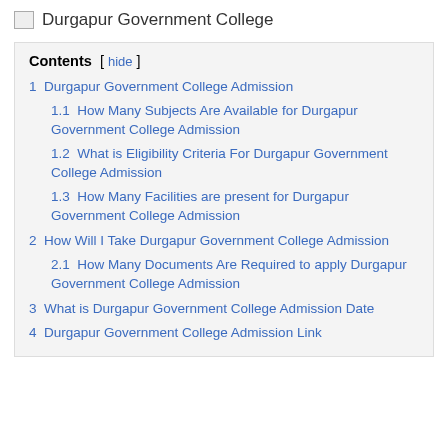[Figure (logo): Broken image icon followed by text 'Durgapur Government College']
Contents [ hide ]
1 Durgapur Government College Admission
1.1 How Many Subjects Are Available for Durgapur Government College Admission
1.2 What is Eligibility Criteria For Durgapur Government College Admission
1.3 How Many Facilities are present for Durgapur Government College Admission
2 How Will I Take Durgapur Government College Admission
2.1 How Many Documents Are Required to apply Durgapur Government College Admission
3 What is Durgapur Government College Admission Date
4 Durgapur Government College Admission Link